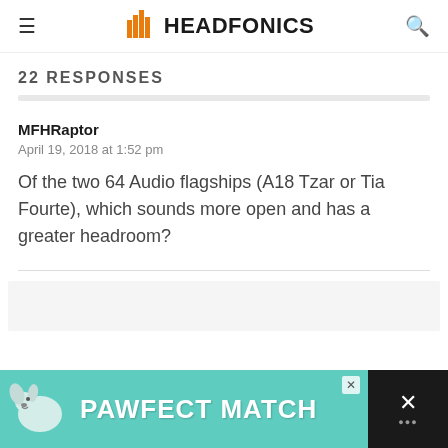HEADFONICS
22 RESPONSES
MFHRaptor
April 19, 2018 at 1:52 pm
Of the two 64 Audio flagships (A18 Tzar or Tia Fourte), which sounds more open and has a greater headroom?
[Figure (photo): Advertisement banner for 'PAWFECT MATCH' featuring a dog image on teal background with a close button and dark right panel with X mark]